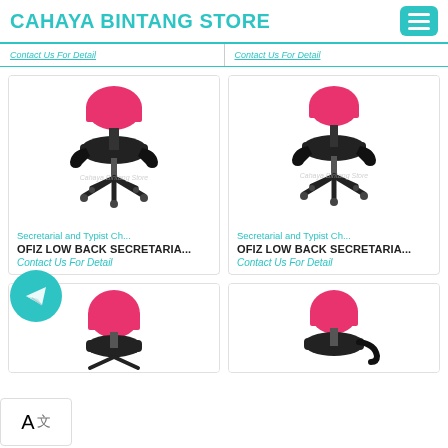CAHAYA BINTANG STORE
Contact Us For Detail
Contact Us For Detail
[Figure (photo): Pink office secretarial chair with black arms and base on white background, watermark: Cahaya Bintang Store]
Secretarial and Typist Ch...
OFIZ LOW BACK SECRETARIA...
Contact Us For Detail
[Figure (photo): Pink office secretarial chair with black arms and base on white background, watermark: Cahaya Bintang Store]
Secretarial and Typist Ch...
OFIZ LOW BACK SECRETARIA...
Contact Us For Detail
[Figure (photo): Pink office chair top view partial, black base, on white background]
[Figure (photo): Pink office chair with black arms partial, on white background]